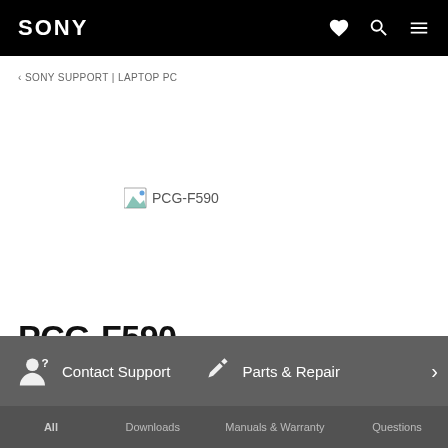SONY
‹ SONY SUPPORT | LAPTOP PC
[Figure (screenshot): Broken/missing product image placeholder for PCG-F590 with image icon and alt text 'PCG-F590']
PCG-F590
Keywords for this product
Contact Support   Parts & Repair
All   Downloads   Manuals & Warranty   Questions